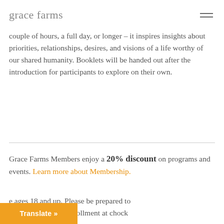grace farms
couple of hours, a full day, or longer – it inspires insights about priorities, relationships, desires, and visions of a life worthy of our shared humanity. Booklets will be handed out after the introduction for participants to explore on their own.
Grace Farms Members enjoy a 20% discount on programs and events. Learn more about Membership.
e ages 18 and up. Please be prepared to nt I.D. or proof of enrollment at chock